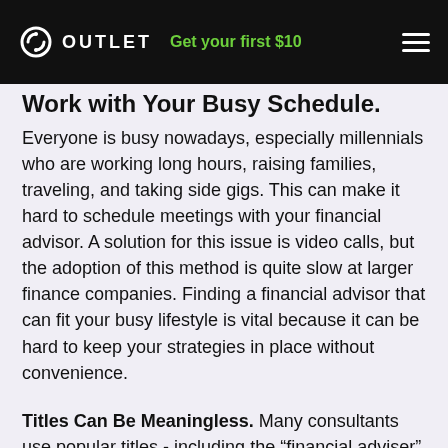OUTLET | Get your first $10
Work with Your Busy Schedule.
Everyone is busy nowadays, especially millennials who are working long hours, raising families, traveling, and taking side gigs. This can make it hard to schedule meetings with your financial advisor. A solution for this issue is video calls, but the adoption of this method is quite slow at larger finance companies. Finding a financial advisor that can fit your busy lifestyle is vital because it can be hard to keep your strategies in place without convenience.
Titles Can Be Meaningless. Many consultants use popular titles - including the “financial adviser” itself – without any specific qualifications. So, don’t assume someone has